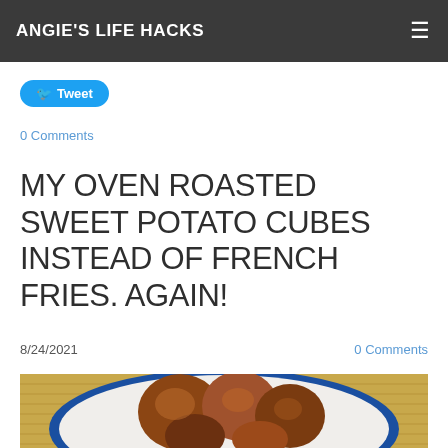ANGIE'S LIFE HACKS
Tweet
0 Comments
MY OVEN ROASTED SWEET POTATO CUBES INSTEAD OF FRENCH FRIES. AGAIN!
8/24/2021    0 Comments
[Figure (photo): Oven roasted sweet potato cubes on a white plate with blue rim, on a bamboo mat background]